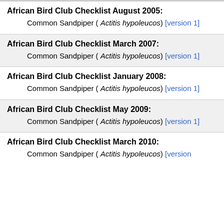African Bird Club Checklist August 2005:
Common Sandpiper ( Actitis hypoleucos) [version 1]
African Bird Club Checklist March 2007:
Common Sandpiper ( Actitis hypoleucos) [version 1]
African Bird Club Checklist January 2008:
Common Sandpiper ( Actitis hypoleucos) [version 1]
African Bird Club Checklist May 2009:
Common Sandpiper ( Actitis hypoleucos) [version 1]
African Bird Club Checklist March 2010:
Common Sandpiper ( Actitis hypoleucos) [version